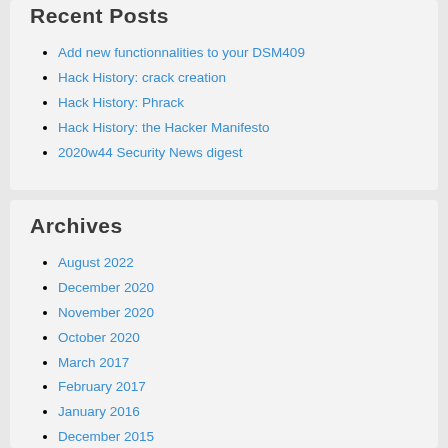Recent Posts
Add new functionnalities to your DSM409
Hack History: crack creation
Hack History: Phrack
Hack History: the Hacker Manifesto
2020w44 Security News digest
Archives
August 2022
December 2020
November 2020
October 2020
March 2017
February 2017
January 2016
December 2015
October 2015